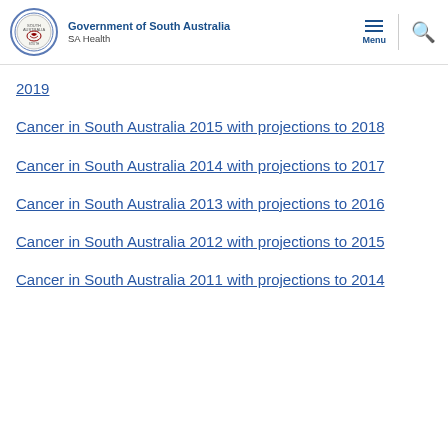Government of South Australia — SA Health
2019
Cancer in South Australia 2015 with projections to 2018
Cancer in South Australia 2014 with projections to 2017
Cancer in South Australia 2013 with projections to 2016
Cancer in South Australia 2012 with projections to 2015
Cancer in South Australia 2011 with projections to 2014